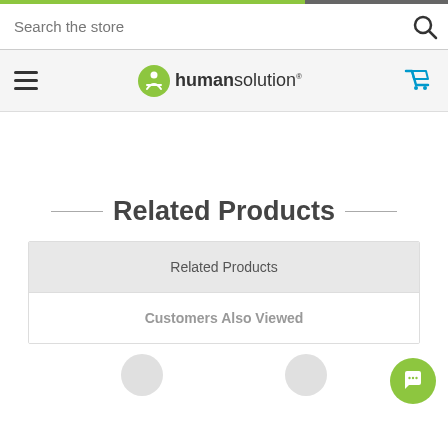Search the store
[Figure (logo): Human Solution logo with green circle icon and text 'humansolution']
Related Products
Related Products
Customers Also Viewed